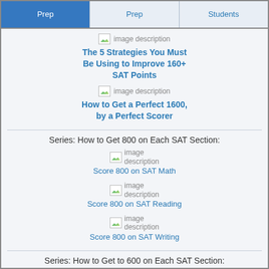Prep | Prep | Students
[Figure (illustration): Broken image placeholder with text 'image description']
The 5 Strategies You Must Be Using to Improve 160+ SAT Points
[Figure (illustration): Broken image placeholder with text 'image description']
How to Get a Perfect 1600, by a Perfect Scorer
Series: How to Get 800 on Each SAT Section:
[Figure (illustration): Broken image placeholder with text 'image description']
Score 800 on SAT Math
[Figure (illustration): Broken image placeholder with text 'image description']
Score 800 on SAT Reading
[Figure (illustration): Broken image placeholder with text 'image description']
Score 800 on SAT Writing
Series: How to Get to 600 on Each SAT Section: